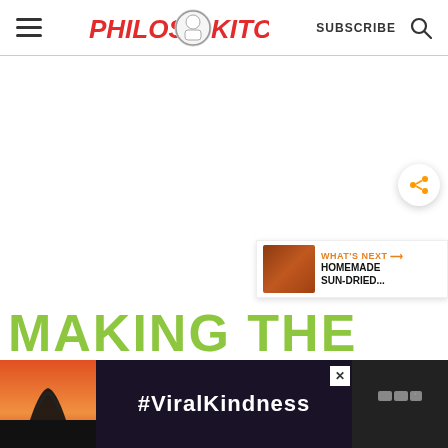Philos Kitchen - SUBSCRIBE - Search
[Figure (screenshot): White blank content area of a food blog website]
[Figure (infographic): Share button (orange circle with share icon) and 'WHAT'S NEXT' sidebar showing HOMEMADE SUN-DRIED... thumbnail]
MAKING THE
[Figure (photo): Advertisement banner with heart-hands silhouette against sunset sky and #ViralKindness text, with close button and logo on right]